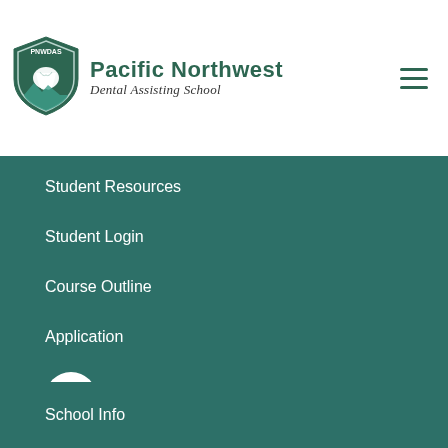[Figure (logo): PNWDAS shield logo with tooth and mountains, in dark green and teal colors]
Pacific Northwest Dental Assisting School
Student Resources
Student Login
Course Outline
Application
[Figure (logo): Facebook icon - white circle with dark blue F letter]
[Figure (logo): YouTube icon - white circle with red play button rectangle]
School Info